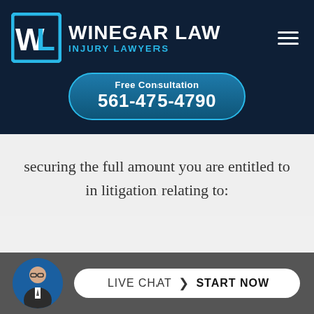[Figure (logo): Winegar Law Injury Lawyers logo with WL icon and phone number button reading Free Consultation 561-475-4790]
securing the full amount you are entitled to in litigation relating to:
[Figure (photo): Live chat widget with photo of a man in suit and glasses, button reading LIVE CHAT > START NOW]